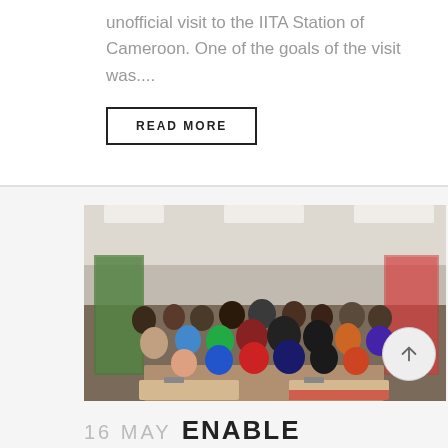unofficial visit to the IITA Station of Cameroon. One of the goals of the visit was....
READ MORE
[Figure (photo): Group photo of a large number of people posing together in a conference room setting, with banners/roll-ups visible in the background.]
16 MAY ENABLE